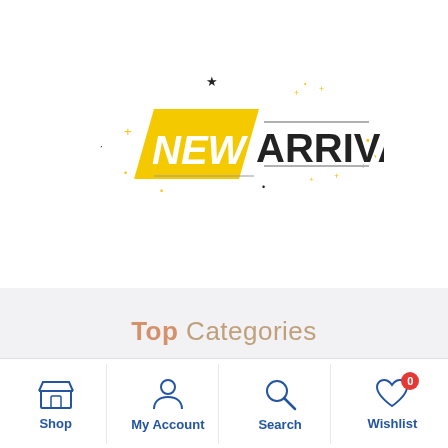[Figure (logo): New Arrival badge logo with yellow parallelogram background for NEW text and bold black ARRIVAL text, decorative stars and dots around it]
Top Categories
[Figure (infographic): Bottom navigation bar with Shop, My Account, Search, and Wishlist icons. Wishlist has a red badge showing 0.]